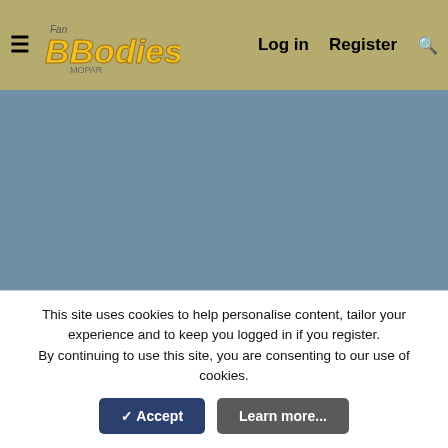Fan B Bodies Mopar Forum — Log in | Register | Search
[Figure (screenshot): Gray advertisement placeholder area]
Jan 5, 2019  #7
Grabbergreendream
Well-Known Member
Local time: 10:38 AM
This site uses cookies to help personalise content, tailor your experience and to keep you logged in if you register.
By continuing to use this site, you are consenting to our use of cookies.
✓ Accept   Learn more...